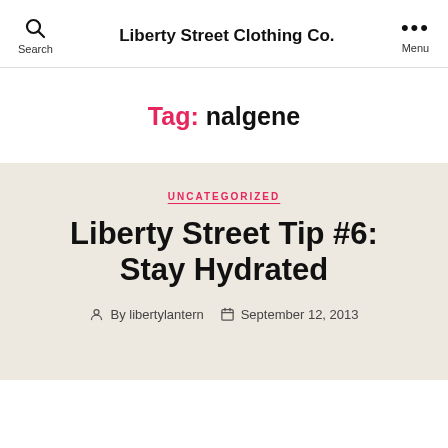Liberty Street Clothing Co.
Tag: nalgene
UNCATEGORIZED
Liberty Street Tip #6: Stay Hydrated
By libertylantern   September 12, 2013